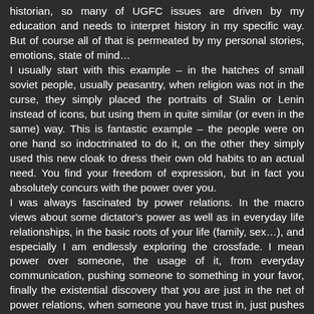historian, so many of UGFC issues are driven by my education and needs to interpret history in my specific way. But of course all of that is permeated by my personal stories, emotions, state of mind… I usually start with this example – in the hatches of small soviet people, usually peasantry, when religion was not in the curse, they simply placed the portraits of Stalin or Lenin instead of icons, but using them in quite similar (or even in the same) way. This is fantastic example – the people were on one hand so indoctrinated to do it, on the other they simply used this new cloak to dress their own old habits to an actual need. You find your freedom of expression, but in fact you absolutely concurs with the power over you. I was always fascinated by power relations. In the macro views about some dictator's power as well as in everyday life relationships, in the basic roots of your life (family, sex…), and especially I am endlessly exploring the crossfade. I mean power over someone, the usage of it, from everyday communication, pushing someone to something in your favor, finally the existential discovery that you are just in the net of power relations, when someone you have trust in, just pushes you down, when power allows him/her to do it. Just